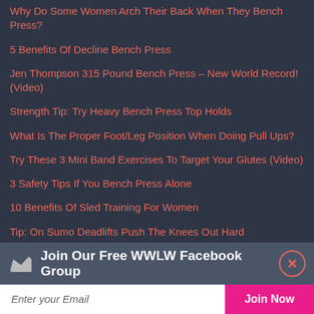Why Do Some Women Arch Their Back When They Bench Press?
5 Benefits Of Decline Bench Press
Jen Thompson 315 Pound Bench Press – New World Record! (Video)
Strength Tip: Try Heavy Bench Press Top Holds
What Is The Proper Foot/Leg Position When Doing Pull Ups?
Try These 3 Mini Band Exercises To Target Your Glutes (Video)
3 Safety Tips If You Bench Press Alone
10 Benefits Of Sled Training For Women
Tip: On Sumo Deadlifts Push The Knees Out Hard
Shares
Join Our Free WWLW Facebook Group
Enter your Email
Join Now